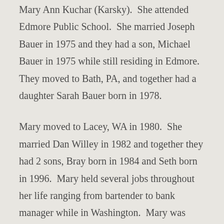Mary Ann Kuchar (Karsky). She attended Edmore Public School. She married Joseph Bauer in 1975 and they had a son, Michael Bauer in 1975 while still residing in Edmore. They moved to Bath, PA, and together had a daughter Sarah Bauer born in 1978.
Mary moved to Lacey, WA in 1980. She married Dan Willey in 1982 and together they had 2 sons, Bray born in 1984 and Seth born in 1996. Mary held several jobs throughout her life ranging from bartender to bank manager while in Washington. Mary was provided the opportunity to attend college in 2009 and